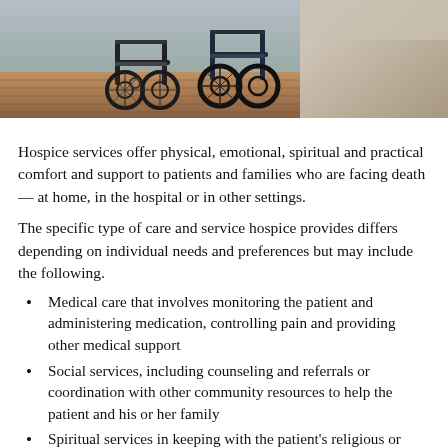[Figure (photo): Photo showing a wheelchair in a room with a bed, hardwood floor setting — hospice/care environment]
Hospice services offer physical, emotional, spiritual and practical comfort and support to patients and families who are facing death — at home, in the hospital or in other settings.
The specific type of care and service hospice provides differs depending on individual needs and preferences but may include the following.
Medical care that involves monitoring the patient and administering medication, controlling pain and providing other medical support
Social services, including counseling and referrals or coordination with other community resources to help the patient and his or her family
Spiritual services in keeping with the patient's religious or spiritual beliefs
Help with household chores, meals and basic personal needs such as getting out of bed, walking, bathing and dressing
Physical, occupational and speech therapy to help maintain or regain lost functioning
Respite care to provide breaks for the usual caregivers